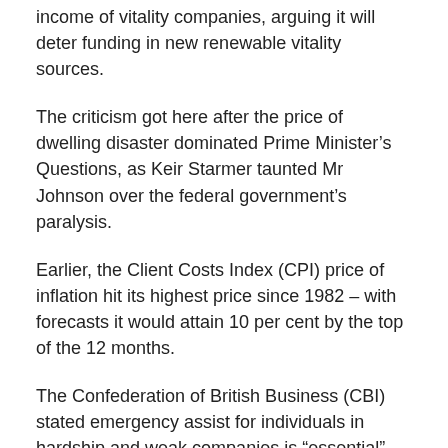income of vitality companies, arguing it will deter funding in new renewable vitality sources.
The criticism got here after the price of dwelling disaster dominated Prime Minister’s Questions, as Keir Starmer taunted Mr Johnson over the federal government’s paralysis.
Earlier, the Client Costs Index (CPI) price of inflation hit its highest price since 1982 – with forecasts it would attain 10 per cent by the top of the 12 months.
The Confederation of British Business (CBI) stated emergency assist for individuals in hardship and weak companies is “essential”, whereas the British Chambers of Commerce echoed Labour requires an emergency Funds.
Sir Keir accused Mr Johnson of getting “his head within the sand in the course of an financial disaster”, including: “The prime minister retains saying extra assistance is coming…